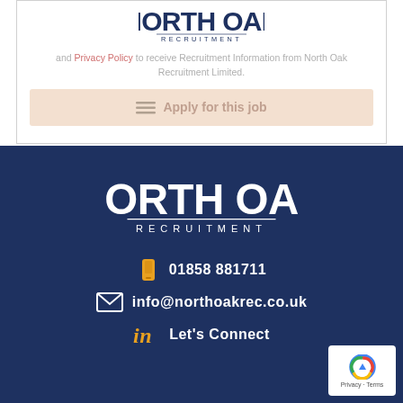[Figure (logo): North Oak Recruitment logo in dark navy blue at top of white card section]
and Privacy Policy to receive Recruitment Information from North Oak Recruitment Limited.
Apply for this job
[Figure (logo): North Oak Recruitment white logo on dark navy blue footer background]
01858 881711
info@northoakrec.co.uk
Let's Connect